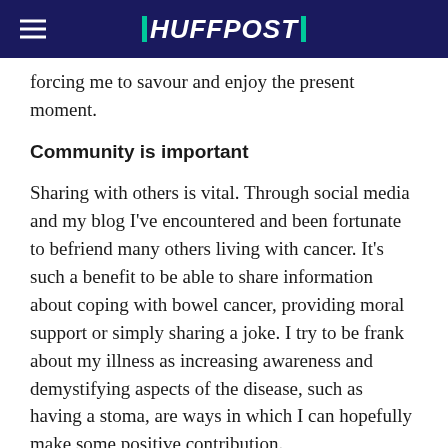HUFFPOST
forcing me to savour and enjoy the present moment.
Community is important
Sharing with others is vital. Through social media and my blog I've encountered and been fortunate to befriend many others living with cancer. It's such a benefit to be able to share information about coping with bowel cancer, providing moral support or simply sharing a joke. I try to be frank about my illness as increasing awareness and demystifying aspects of the disease, such as having a stoma, are ways in which I can hopefully make some positive contribution.